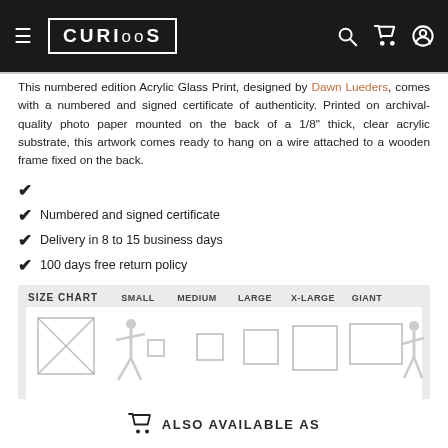CURIOOS
This numbered edition Acrylic Glass Print, designed by Dawn Lueders, comes with a numbered and signed certificate of authenticity. Printed on archival-quality photo paper mounted on the back of a 1/8" thick, clear acrylic substrate, this artwork comes ready to hang on a wire attached to a wooden frame fixed on the back.
Numbered and signed certificate
Delivery in 8 to 15 business days
100 days free return policy
[Figure (infographic): Size chart showing SMALL, MEDIUM, LARGE, X-LARGE, GIANT options with comparative rectangle sizes and human silhouette for scale]
ALSO AVAILABLE AS